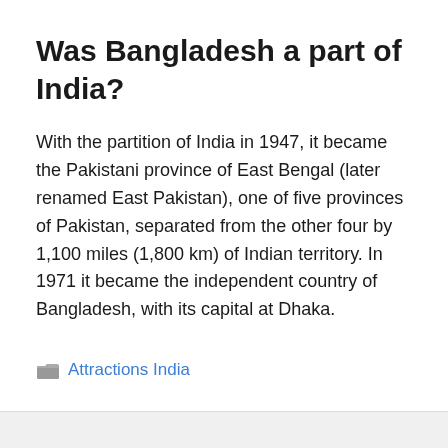Was Bangladesh a part of India?
With the partition of India in 1947, it became the Pakistani province of East Bengal (later renamed East Pakistan), one of five provinces of Pakistan, separated from the other four by 1,100 miles (1,800 km) of Indian territory. In 1971 it became the independent country of Bangladesh, with its capital at Dhaka.
Attractions India